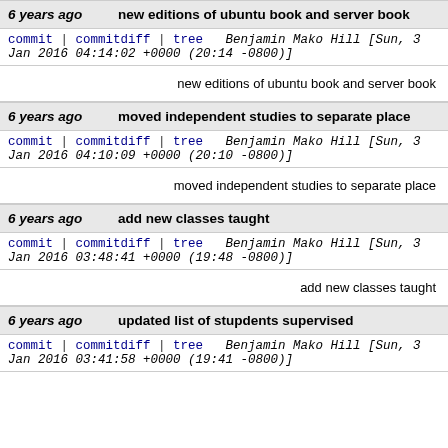6 years ago   new editions of ubuntu book and server book
commit | commitdiff | tree   Benjamin Mako Hill [Sun, 3 Jan 2016 04:14:02 +0000 (20:14 -0800)]
new editions of ubuntu book and server book
6 years ago   moved independent studies to separate place
commit | commitdiff | tree   Benjamin Mako Hill [Sun, 3 Jan 2016 04:10:09 +0000 (20:10 -0800)]
moved independent studies to separate place
6 years ago   add new classes taught
commit | commitdiff | tree   Benjamin Mako Hill [Sun, 3 Jan 2016 03:48:41 +0000 (19:48 -0800)]
add new classes taught
6 years ago   updated list of stupdents supervised
commit | commitdiff | tree   Benjamin Mako Hill [Sun, 3 Jan 2016 03:41:58 +0000 (19:41 -0800)]